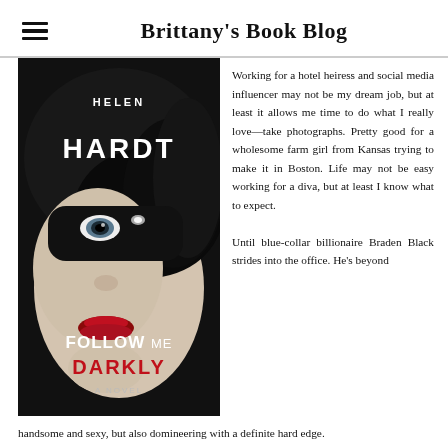Brittany's Book Blog
[Figure (photo): Book cover of 'Follow Me Darkly' by Helen Hardt – a noir black and white photo of a woman in a feathered masquerade mask with red lips, white text reading 'HELEN HARDT' at top, 'FOLLOW ME' in white and 'DARKLY' in red below, 'A NOVEL' in small white text.]
Working for a hotel heiress and social media influencer may not be my dream job, but at least it allows me time to do what I really love—take photographs. Pretty good for a wholesome farm girl from Kansas trying to make it in Boston. Life may not be easy working for a diva, but at least I know what to expect.
Until blue-collar billionaire Braden Black strides into the office. He's beyond handsome and sexy, but also domineering with a definite hard edge.